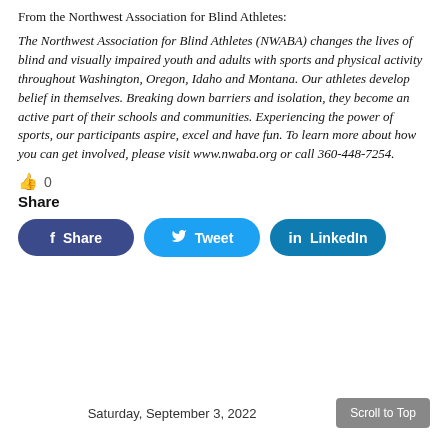From the Northwest Association for Blind Athletes:
The Northwest Association for Blind Athletes (NWABA) changes the lives of blind and visually impaired youth and adults with sports and physical activity throughout Washington, Oregon, Idaho and Montana. Our athletes develop belief in themselves. Breaking down barriers and isolation, they become an active part of their schools and communities. Experiencing the power of sports, our participants aspire, excel and have fun. To learn more about how you can get involved, please visit www.nwaba.org or call 360-448-7254.
👍 0
Share
f Share
🐦 Tweet
in LinkedIn
Saturday, September 3, 2022